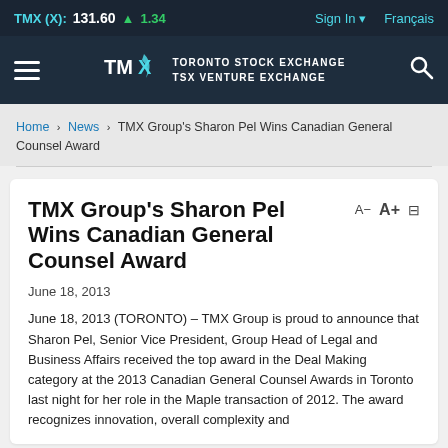TMX (X): 131.60 ▲ 1.34   Sign In   Français
[Figure (logo): TMX Group logo with Toronto Stock Exchange / TSX Venture Exchange text]
Home > News > TMX Group's Sharon Pel Wins Canadian General Counsel Award
TMX Group's Sharon Pel Wins Canadian General Counsel Award
June 18, 2013
June 18, 2013 (TORONTO) – TMX Group is proud to announce that Sharon Pel, Senior Vice President, Group Head of Legal and Business Affairs received the top award in the Deal Making category at the 2013 Canadian General Counsel Awards in Toronto last night for her role in the Maple transaction of 2012. The award recognizes innovation, overall complexity and